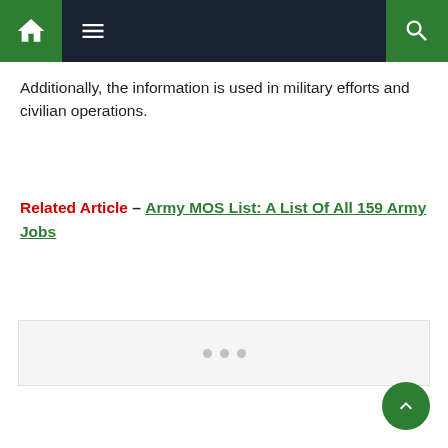Navigation bar with home, menu, and search icons
Additionally, the information is used in military efforts and civilian operations.
Related Article – Army MOS List: A List Of All 159 Army Jobs
[Figure (other): Advertisement placeholder box with three dots]
[Figure (other): Back to top button (green circle with up arrow)]